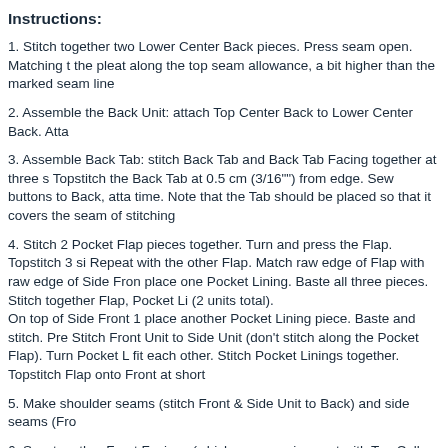Instructions:
1. Stitch together two Lower Center Back pieces. Press seam open. Matching the pleat along the top seam allowance, a bit higher than the marked seam line
2. Assemble the Back Unit: attach Top Center Back to Lower Center Back. Atta
3. Assemble Back Tab: stitch Back Tab and Back Tab Facing together at three s Topstitch the Back Tab at 0.5 cm (3/16"") from edge. Sew buttons to Back, atta time. Note that the Tab should be placed so that it covers the seam of stitching
4. Stitch 2 Pocket Flap pieces together. Turn and press the Flap. Topstitch 3 si Repeat with the other Flap. Match raw edge of Flap with raw edge of Side Fron place one Pocket Lining. Baste all three pieces. Stitch together Flap, Pocket Li (2 units total).
On top of Side Front 1 place another Pocket Lining piece. Baste and stitch. Pre Stitch Front Unit to Side Unit (don’t stitch along the Pocket Flap). Turn Pocket L fit each other. Stitch Pocket Linings together. Topstitch Flap onto Front at short
5. Make shoulder seams (stitch Front & Side Unit to Back) and side seams (Fro
6. Sew together Front Facings (which are one-piece cut with Top Collar pieces) Neck Facing at shoulder seams. Sew Lower Collar into coat neckline. Sew Top Clip seam allowances. Press seams open.